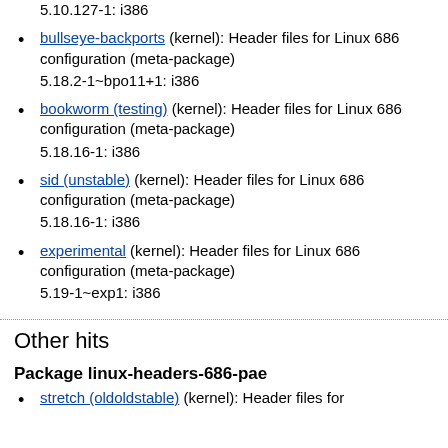5.10.127-1: i386
bullseye-backports (kernel): Header files for Linux 686 configuration (meta-package)
5.18.2-1~bpo11+1: i386
bookworm (testing) (kernel): Header files for Linux 686 configuration (meta-package)
5.18.16-1: i386
sid (unstable) (kernel): Header files for Linux 686 configuration (meta-package)
5.18.16-1: i386
experimental (kernel): Header files for Linux 686 configuration (meta-package)
5.19-1~exp1: i386
Other hits
Package linux-headers-686-pae
stretch (oldoldstable) (kernel): Header files for